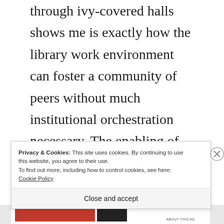through ivy-covered halls shows me is exactly how the library work environment can foster a community of peers without much institutional orchestration necessary. The enabling of space and access was enough, the more it was up to us to build and maintain the study environment, the more we felt that we belonged there. Obviously, this need for belonging may be
Privacy & Cookies: This site uses cookies. By continuing to use this website, you agree to their use. To find out more, including how to control cookies, see here: Cookie Policy
Close and accept